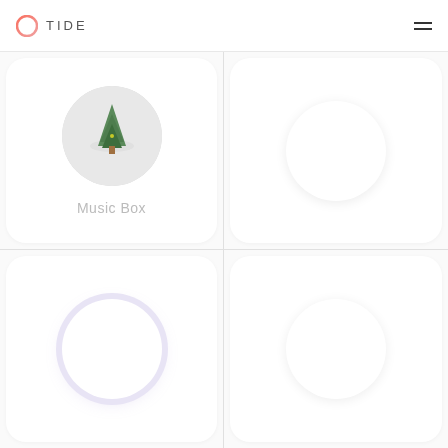TIDE
[Figure (screenshot): TIDE app interface showing a 2x2 grid of sound/music category cards. Top-left card shows 'Music Box' with a circular photo of a Christmas tree ornament. Top-right card shows a plain white circle placeholder. Bottom-left card shows a circle with purple/lavender glow. Bottom-right card shows a plain white circle placeholder.]